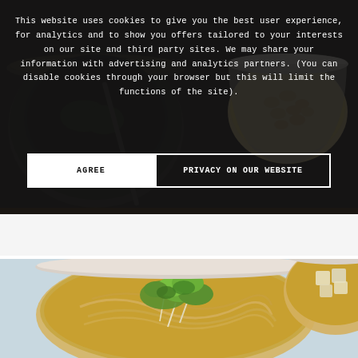[Figure (photo): Top-down food photography showing dark cooking pots and a bowl of macaroni/pasta on the right side, dark moody background]
This website uses cookies to give you the best user experience, for analytics and to show you offers tailored to your interests on our site and third party sites. We may share your information with advertising and analytics partners. (You can disable cookies through your browser but this will limit the functions of the site).
AGREE
PRIVACY ON OUR WEBSITE
[Figure (photo): Top-down food photography showing a bowl of noodle soup with green vegetables, bean sprouts, and tofu on a light blue background, with another bowl of tofu soup partially visible in upper right]